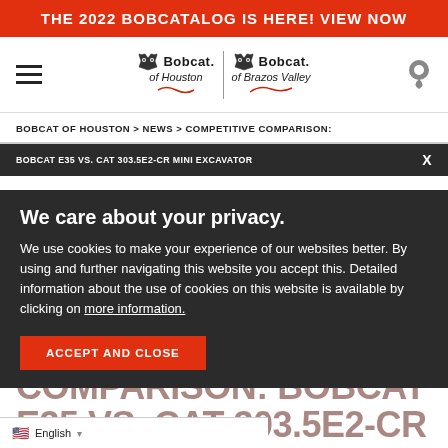THE 2022 BOBCATALOG IS HERE! VIEW NOW
[Figure (logo): Bobcat of Houston and Bobcat of Brazos Valley logos with hamburger menu and location pin icon]
BOBCAT OF HOUSTON > NEWS > COMPETITIVE COMPARISON:
BOBCAT E35 VS. CAT 303.5E2-CR MINI EXCAVATOR
We care about your privacy.
We use cookies to make your experience of our websites better. By using and further navigating this website you accept this. Detailed information about the use of cookies on this website is available by clicking on more information.
ACCEPT AND CLOSE
COMPETITIVE COMPARISON: BOBCAT E35 VS. CAT 303.5E2-CR
English